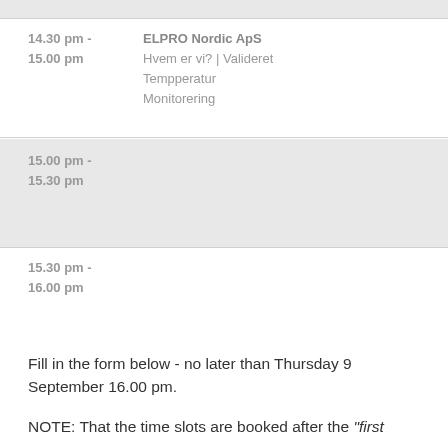| Time | Content |
| --- | --- |
| 14.30 pm - 15.00 pm | ELPRO Nordic ApS
Hvem er vi? | Valideret Tempperatur Monitorering |
| 15.00 pm - 15.30 pm |  |
| 15.30 pm - 16.00 pm |  |
Fill in the form below - no later than Thursday 9 September 16.00 pm.
NOTE: That the time slots are booked after the “first